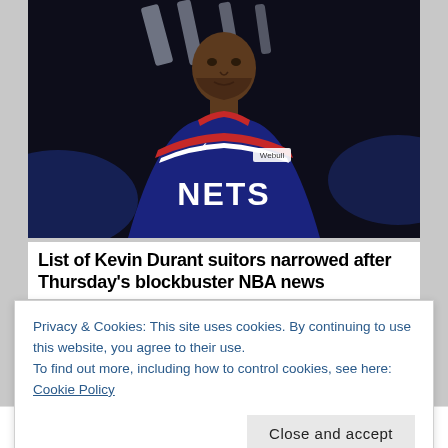[Figure (photo): Kevin Durant in Brooklyn Nets navy blue uniform with red and white trim, NETS lettering on jersey, Webull sponsor patch, Nike swoosh. Player looking slightly upward against dark arena background with blue lighting.]
List of Kevin Durant suitors narrowed after Thursday's blockbuster NBA news
Privacy & Cookies: This site uses cookies. By continuing to use this website, you agree to their use.
To find out more, including how to control cookies, see here: Cookie Policy
Close and accept